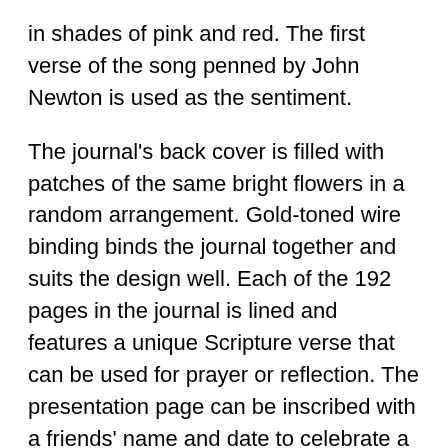in shades of pink and red. The first verse of the song penned by John Newton is used as the sentiment.
The journal's back cover is filled with patches of the same bright flowers in a random arrangement. Gold-toned wire binding binds the journal together and suits the design well. Each of the 192 pages in the journal is lined and features a unique Scripture verse that can be used for prayer or reflection. The presentation page can be inscribed with a friends' name and date to celebrate a special occasion. The durable hardcover provides a firm surface for writing, and the wire binding lets you fold over the pages easily.
The words of the Amazing Grace Large Wirebound Journal will fill your heart with humility as you ponder your salvation. Use the pages to pour out your heart to the Lord in thanksgiving. You may also pair the journal with a bookmark or notebook and share it with a new (or old) believer on their spiritual birthday as a celebratory gift that